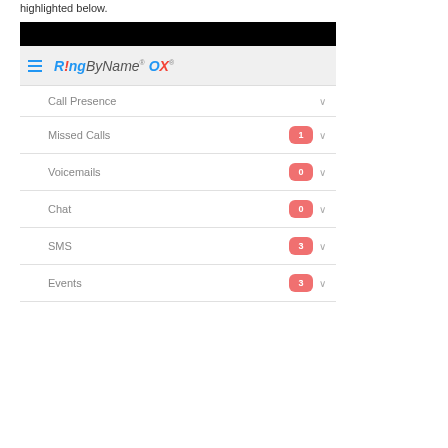highlighted below.
[Figure (screenshot): RingByName OX mobile app sidebar menu showing: Call Presence, Missed Calls (badge 1), Voicemails (badge 0), Chat (badge 0), SMS (badge 3), Events (badge 3). Each item has a dropdown chevron.]